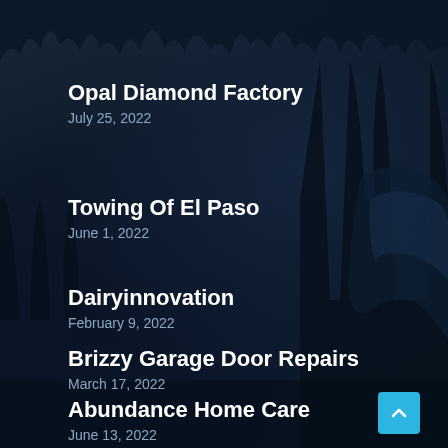[Figure (photo): Dark night forest background with tall pine tree silhouettes and rocky cliff, dark navy blue tones]
Opal Diamond Factory
July 25, 2022
Towing Of El Paso
June 1, 2022
Dairyinnovation
February 9, 2022
Brizzy Garage Door Repairs
March 17, 2022
Abundance Home Care
June 13, 2022